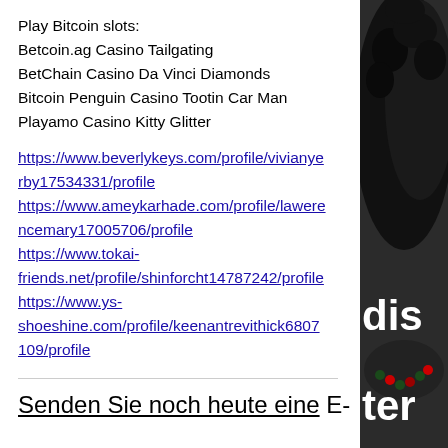Play Bitcoin slots:
Betcoin.ag Casino Tailgating
BetChain Casino Da Vinci Diamonds
Bitcoin Penguin Casino Tootin Car Man
Playamo Casino Kitty Glitter
https://www.beverlykeys.com/profile/vivianye rby17534331/profile
https://www.ameykarhade.com/profile/lawere ncemary17005706/profile
https://www.tokai-friends.net/profile/shinforcht14787242/profile
https://www.ys-shoeshine.com/profile/keenantrevithick6807109/profile
Senden Sie noch heute eine E-
[Figure (photo): Dark background with a person's head (curly hair) visible on the right side, with white bold text overlay reading 'dis' and 'ter']